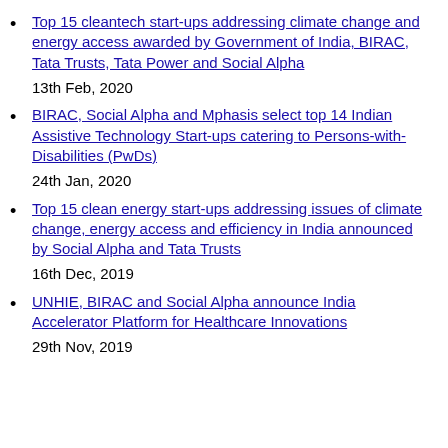Top 15 cleantech start-ups addressing climate change and energy access awarded by Government of India, BIRAC, Tata Trusts, Tata Power and Social Alpha
13th Feb, 2020
BIRAC, Social Alpha and Mphasis select top 14 Indian Assistive Technology Start-ups catering to Persons-with-Disabilities (PwDs)
24th Jan, 2020
Top 15 clean energy start-ups addressing issues of climate change, energy access and efficiency in India announced by Social Alpha and Tata Trusts
16th Dec, 2019
UNHIE, BIRAC and Social Alpha announce India Accelerator Platform for Healthcare Innovations
29th Nov, 2019